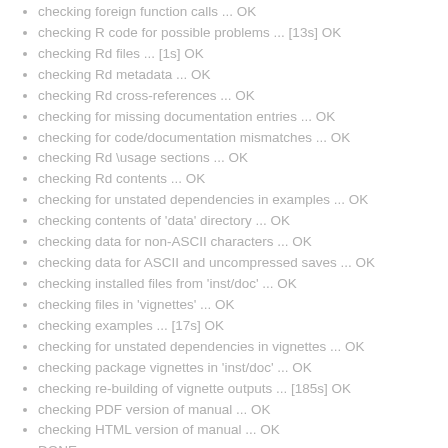checking foreign function calls ... OK
checking R code for possible problems ... [13s] OK
checking Rd files ... [1s] OK
checking Rd metadata ... OK
checking Rd cross-references ... OK
checking for missing documentation entries ... OK
checking for code/documentation mismatches ... OK
checking Rd \usage sections ... OK
checking Rd contents ... OK
checking for unstated dependencies in examples ... OK
checking contents of 'data' directory ... OK
checking data for non-ASCII characters ... OK
checking data for ASCII and uncompressed saves ... OK
checking installed files from 'inst/doc' ... OK
checking files in 'vignettes' ... OK
checking examples ... [17s] OK
checking for unstated dependencies in vignettes ... OK
checking package vignettes in 'inst/doc' ... OK
checking re-building of vignette outputs ... [185s] OK
checking PDF version of manual ... OK
checking HTML version of manual ... OK
DONE
Status: OK